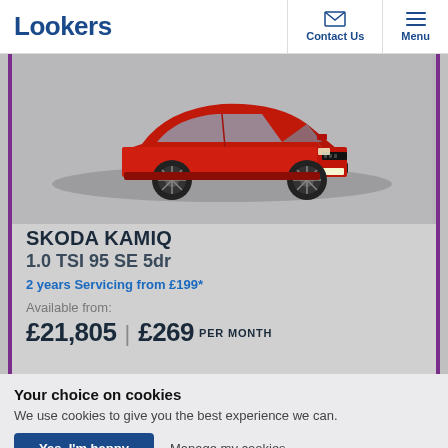Lookers | Contact Us | Menu
[Figure (photo): Red Skoda Kamiq SUV car viewed from front-right angle on grey background]
SKODA KAMIQ
1.0 TSI 95 SE 5dr
2 years Servicing from £199*
Available from:
£21,805 | £269 PER MONTH
Your choice on cookies
We use cookies to give you the best experience we can.
Yes, I'm happy | Manage my cookies